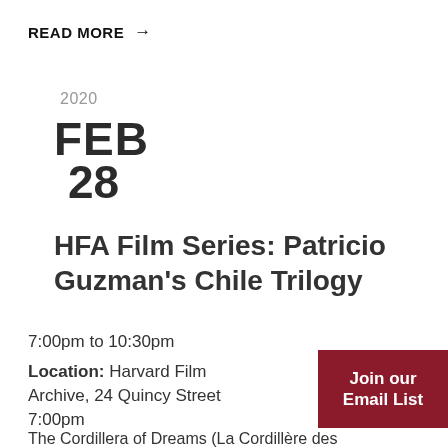READ MORE →
2020
FEB
28
HFA Film Series: Patricio Guzman's Chile Trilogy
7:00pm to 10:30pm
Location: Harvard Film Archive, 24 Quincy Street
7:00pm
Join our Email List
The Cordillera of Dreams (La Cordillère des